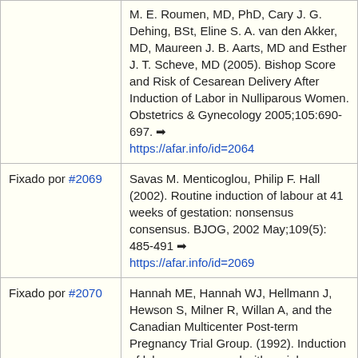|  |  |
| --- | --- |
|  | M. E. Roumen, MD, PhD, Cary J. G. Dehing, BSt, Eline S. A. van den Akker, MD, Maureen J. B. Aarts, MD and Esther J. T. Scheve, MD (2005). Bishop Score and Risk of Cesarean Delivery After Induction of Labor in Nulliparous Women. Obstetrics & Gynecology 2005;105:690-697. ➡ https://afar.info/id=2064 |
| Fixado por #2069 | Savas M. Menticoglou, Philip F. Hall (2002). Routine induction of labour at 41 weeks of gestation: nonsensus consensus. BJOG, 2002 May;109(5): 485-491 ➡ https://afar.info/id=2069 |
| Fixado por #2070 | Hannah ME, Hannah WJ, Hellmann J, Hewson S, Milner R, Willan A, and the Canadian Multicenter Post-term Pregnancy Trial Group. (1992). Induction of labor as compared with serial antenatal monitoring in post-term pregnancy. A randomized controlled trial. N Engl J Med 1992;326:1587–1592. ➡ https://afar.info/id=2070 |
| Fixado por #2984 | William A. Grobman, M. D., Madeline M. Rice, Ph. D., Uma M. Reddy, M. D., M. P. H., |